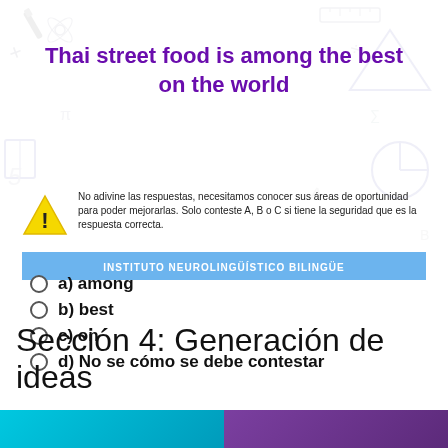Thai street food is among the best on the world
No adivine las respuestas, necesitamos conocer sus áreas de oportunidad para poder mejorarlas. Solo conteste A, B o C si tiene la seguridad que es la respuesta correcta.
INSTITUTO NEUROLINGÜÍSTICO BILINGÜE
a) among
b) best
c) on
d) No se cómo se debe contestar
Sección 4: Generación de ideas